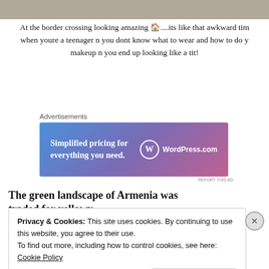[Figure (photo): Top portion of a photo showing a border crossing scene, cropped at the top of the page.]
At the border crossing looking amazing 🏠....its like that awkward time when youre a teenager n you dont know what to wear and how to do your makeup n you end up looking like a tit!
Advertisements
[Figure (other): WordPress.com advertisement banner with gradient blue-purple-pink background. Text reads: Simplified pricing for everything you need. WordPress.com logo on right.]
The green landscape of Armenia was traded for yellowy,
Privacy & Cookies: This site uses cookies. By continuing to use this website, you agree to their use.
To find out more, including how to control cookies, see here: Cookie Policy
Close and accept